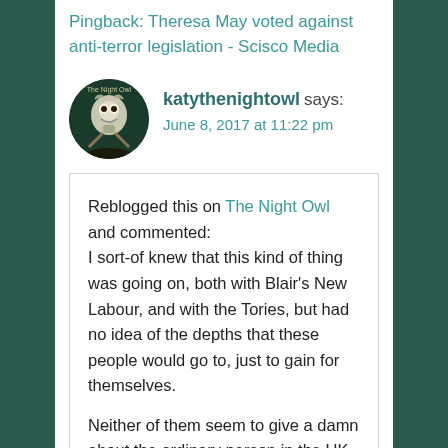Pingback: Theresa May voted against anti-terror legislation - Scisco Media
katythenightowl says:
June 8, 2017 at 11:22 pm
Reblogged this on The Night Owl and commented:
I sort-of knew that this kind of thing was going on, both with Blair's New Labour, and with the Tories, but had no idea of the depths that these people would go to, just to gain for themselves.

Neither of them seem to give a damn about the ordinary person in the UK – only money seeems to register with them!